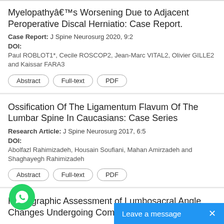Myelopathyâ€™s Worsening Due to Adjacent Peroperative Discal Herniatio: Case Report.
Case Report: J Spine Neurosurg 2020, 9:2
DOI:
Paul ROBLOT1*, Cecile ROSCOP2, Jean-Marc VITAL2, Olivier GILLE2 and Kaissar FARA3
Abstract
Full-text
PDF
Ossification Of The Ligamentum Flavum Of The Lumbar Spine In Caucasians: Case Series
Research Article: J Spine Neurosurg 2017, 6:5
DOI:
Abolfazl Rahimizadeh, Housain Soufiani, Mahan Amirzadeh and Shaghayegh Rahimizadeh
Abstract
Full-text
PDF
Radiographic Assessment of Lumbosacral Angle Changes Undergoing Comp